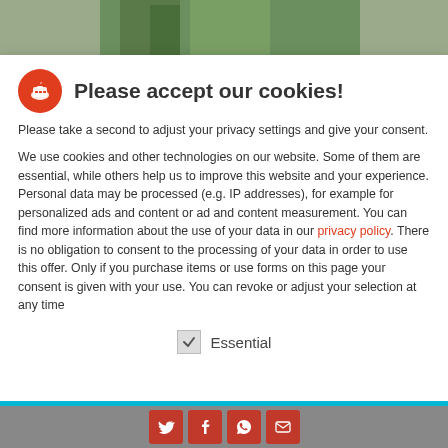[Figure (screenshot): Blurred photo of green plants visible at the top of the page behind the cookie consent modal]
Please accept our cookies!
Please take a second to adjust your privacy settings and give your consent.
We use cookies and other technologies on our website. Some of them are essential, while others help us to improve this website and your experience. Personal data may be processed (e.g. IP addresses), for example for personalized ads and content or ad and content measurement. You can find more information about the use of your data in our privacy policy. There is no obligation to consent to the processing of your data in order to use this offer. Only if you purchase items or use forms on this page your consent is given with your use. You can revoke or adjust your selection at any time
Essential
[Figure (screenshot): Bottom social sharing bar with Twitter, Facebook, WhatsApp, and email icons in dark red/crimson squares, with a cyan horizontal bar above them]